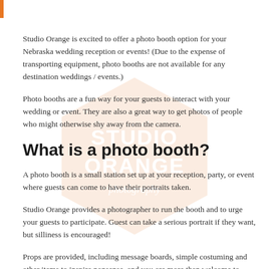Studio Orange is excited to offer a photo booth option for your Nebraska wedding reception or events! (Due to the expense of transporting equipment, photo booths are not available for any destination weddings / events.)
Photo booths are a fun way for your guests to interact with your wedding or event. They are also a great way to get photos of people who might otherwise shy away from the camera.
What is a photo booth?
A photo booth is a small station set up at your reception, party, or event where guests can come to have their portraits taken.
Studio Orange provides a photographer to run the booth and to urge your guests to participate. Guest can take a serious portrait if they want, but silliness is encouraged!
Props are provided, including message boards, simple costuming and other items to inspire nonsense, and you are more than welcome to provide your own props.